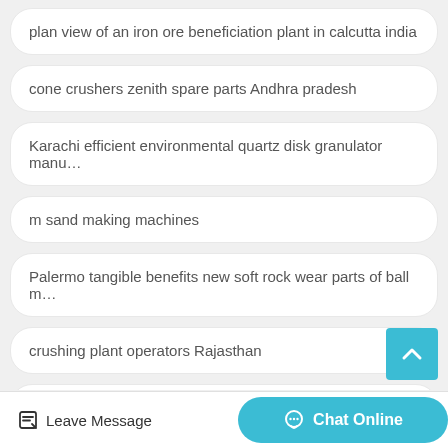plan view of an iron ore beneficiation plant in calcutta india
cone crushers zenith spare parts Andhra pradesh
Karachi efficient environmental quartz disk granulator manu…
m sand making machines
Palermo tangible benefits new soft rock wear parts of ball m…
crushing plant operators Rajasthan
dust collector calculations
Leave Message  Chat Online